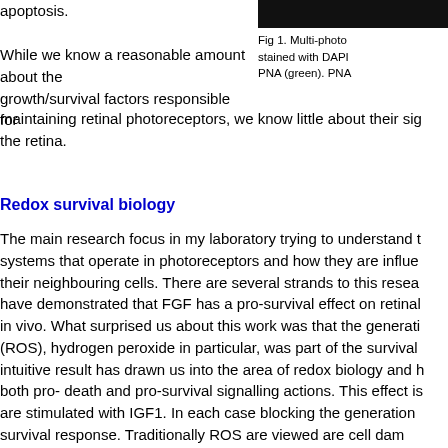apoptosis.
[Figure (photo): Multi-photon microscopy image of retinal tissue, partially visible at top right corner, dark background.]
Fig 1. Multi-photon stained with DAPI PNA (green). PNA
While we know a reasonable amount about the growth/survival factors responsible for maintaining retinal photoreceptors, we know little about their sig the retina.
Redox survival biology
The main research focus in my laboratory trying to understand t systems that operate in photoreceptors and how they are influe their neighbouring cells. There are several strands to this resea have demonstrated that FGF has a pro-survival effect on retinal in vivo. What surprised us about this work was that the generati (ROS), hydrogen peroxide in particular, was part of the survival intuitive result has drawn us into the area of redox biology and h both pro- death and pro-survival signalling actions. This effect is are stimulated with IGF1. In each case blocking the generation survival response. Traditionally ROS are viewed are cell dam